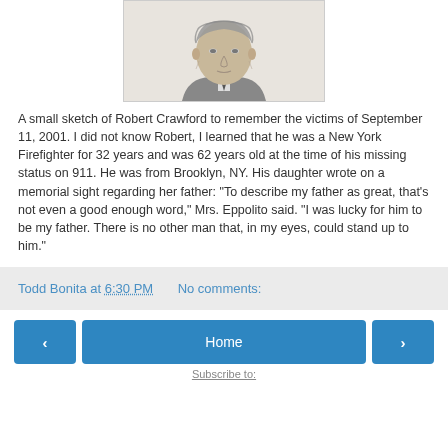[Figure (illustration): A pencil sketch portrait of Robert Crawford, a man in a suit and tie, shown from shoulders up.]
A small sketch of Robert Crawford to remember the victims of September 11, 2001. I did not know Robert, I learned that he was a New York Firefighter for 32 years and was 62 years old at the time of his missing status on 911. He was from Brooklyn, NY. His daughter wrote on a memorial sight regarding her father: "To describe my father as great, that's not even a good enough word," Mrs. Eppolito said. "I was lucky for him to be my father. There is no other man that, in my eyes, could stand up to him."
Todd Bonita at 6:30 PM   No comments:
Home